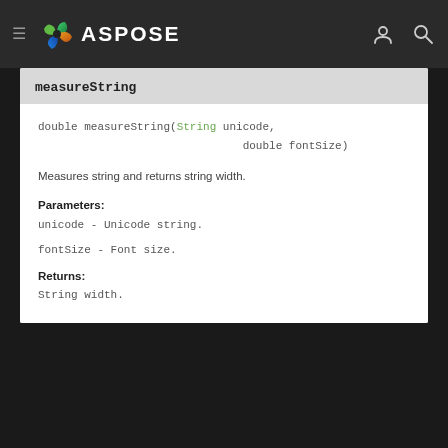ASPOSE
measureString
Measures string and returns string width.
Parameters:
unicode - Unicode string.
fontSize - Font size.
Returns:
String width.